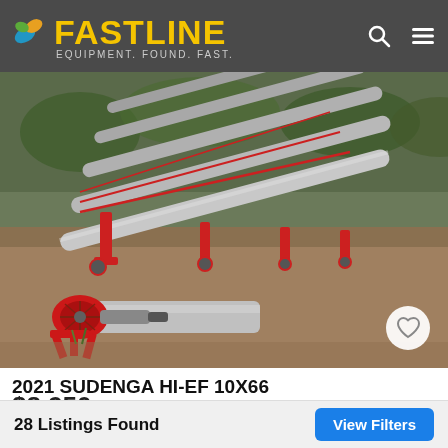FASTLINE — EQUIPMENT. FOUND. FAST.
[Figure (photo): Photo of a 2021 Sudenga HI-EF 10x66 grain auger/conveyor with red motor end and silver tubes, lying on dirt ground with multiple auger sections visible.]
2021 SUDENGA HI-EF 10X66
$8,950
961.0 miles away - MOUNTAIN LAKE, MN
28 Listings Found
View Filters